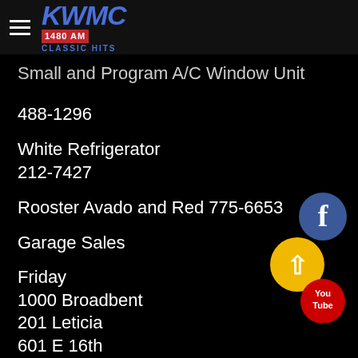KWMC 1480 AM Classic Hits
Small and Program A/C Window Unit
488-1296
White Refrigerator
212-7427
Rooster Avado and Red 775-6653
Garage Sales
Friday
1000 Broadbent
201 Leticia
601 E 16th
608 Pecan St